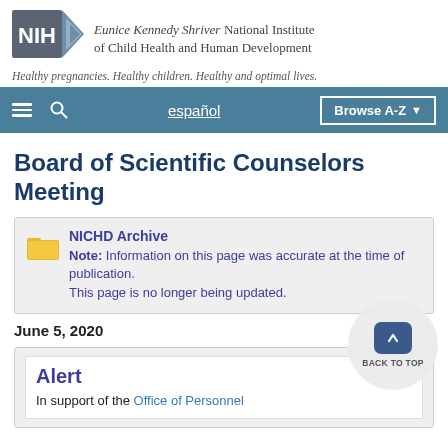[Figure (logo): NIH logo with Eunice Kennedy Shriver National Institute of Child Health and Human Development text]
Healthy pregnancies. Healthy children. Healthy and optimal lives.
Navigation bar with hamburger menu, search icon, español link, Browse A-Z button
Board of Scientific Counselors Meeting
NICHD Archive
Note: Information on this page was accurate at the time of publication.
This page is no longer being updated.
June 5, 2020
Alert
In support of the Office of Personnel